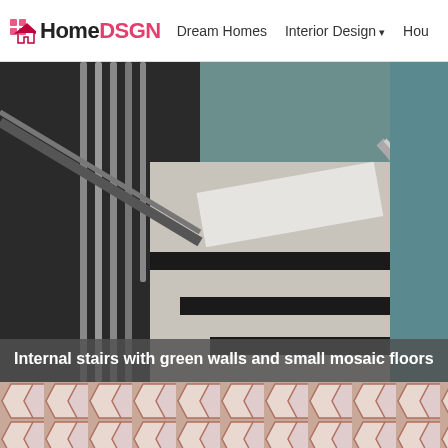HomeDSGN | Dream Homes | Interior Design | Hou
[Figure (photo): Internal staircase with dark metal railings, mosaic tile flooring on steps, and teal/green walls]
Internal stairs with green walls and small mosaic floors
[Figure (photo): Close-up of hexagonal mosaic floor tiles in pink/terracotta color with grout lines]